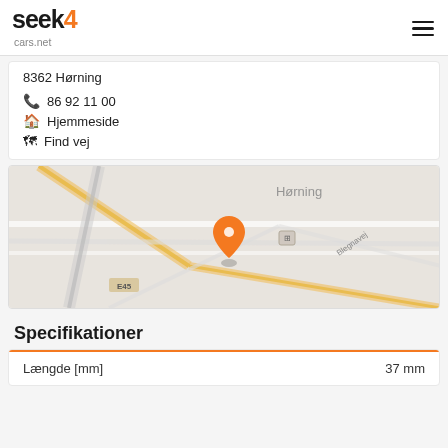seek4cars.net
8362 Hørning
☎ 86 92 11 00
⌂ Hjemmeside
 Find vej
[Figure (map): Street map showing Hørning area with an orange location pin marker. Roads visible including E45 motorway. Label 'Hørning' visible in top center of map.]
Specifikationer
| Længde [mm] |  |
| --- | --- |
| Længde [mm] | 37 mm |